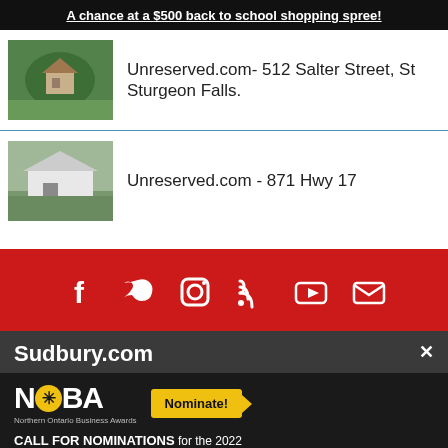A chance at a $500 back to school shopping spree!
Unreserved.com- 512 Salter Street, St Sturgeon Falls.
Unreserved.com - 871 Hwy 17
[Figure (other): Social media icons bar (Facebook, Twitter, Instagram, RSS, YouTube, Email) on red background]
Sudbury.com
[Figure (other): NOBA Northern Ontario Business Awards advertisement banner with Nominate! button and Call for Nominations text for the 2022 Northern Ontario Business Awards]